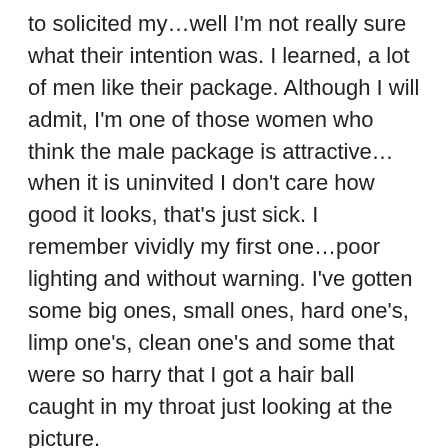to solicited my…well I'm not really sure what their intention was. I learned, a lot of men like their package. Although I will admit, I'm one of those women who think the male package is attractive…when it is uninvited I don't care how good it looks, that's just sick. I remember vividly my first one…poor lighting and without warning. I've gotten some big ones, small ones, hard one's, limp one's, clean one's and some that were so harry that I got a hair ball caught in my throat just looking at the picture.
I always shared them as well. My friends at work would always ask if I had gotten any new one's and unfortunately I never disappointed. One of the ladies I worked out with was new to this online crap and got her first one. I told her, if I